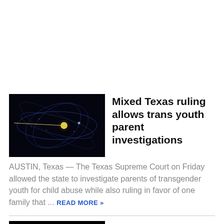[Figure (photo): Dark background image showing orbital or trajectory paths in blue, with a yellow/gold dot near center — appears to be a space/astronomy visualization]
Mixed Texas ruling allows trans youth parent investigations
AUSTIN, Texas — The Texas Supreme Court on Friday allowed the state to investigate parents of transgender youth for child abuse while also ruling in favor of one family that ...
[Figure (photo): Dark/black image, second article thumbnail]
Mimi Rogers Cried